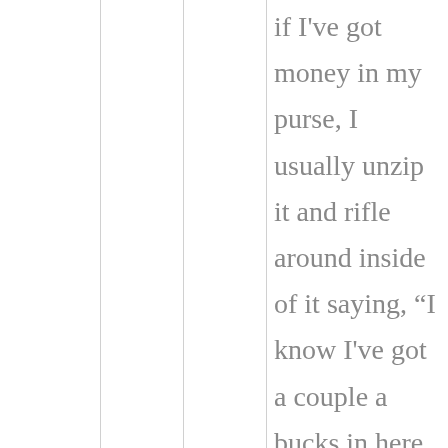if I've got money in my purse, I usually unzip it and rifle around inside of it saying, “I know I've got a couple a bucks in here somewhere …